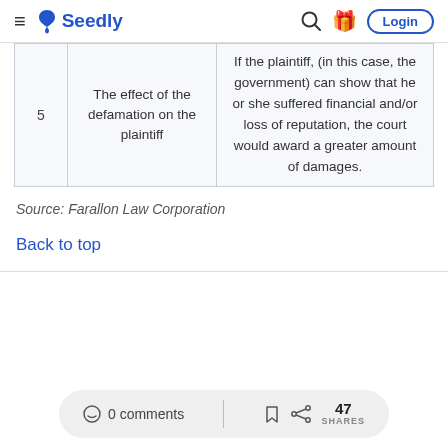Seedly — navigation bar with hamburger menu, logo, search, gift, and Login button
|  | Element | Description |
| --- | --- | --- |
| 5 | The effect of the defamation on the plaintiff | If the plaintiff, (in this case, the government) can show that he or she suffered financial and/or loss of reputation, the court would award a greater amount of damages. |
Source: Farallon Law Corporation
Back to top
0 comments | 47 SHARES